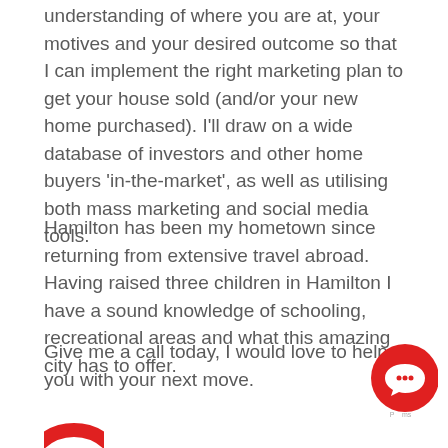understanding of where you are at, your motives and your desired outcome so that I can implement the right marketing plan to get your house sold (and/or your new home purchased). I'll draw on a wide database of investors and other home buyers 'in-the-market', as well as utilising both mass marketing and social media tools.
Hamilton has been my hometown since returning from extensive travel abroad. Having raised three children in Hamilton I have a sound knowledge of schooling, recreational areas and what this amazing city has to offer.
Give me a call today, I would love to help you with your next move.
[Figure (illustration): Red circular chat button icon with speech bubble symbol in bottom right corner]